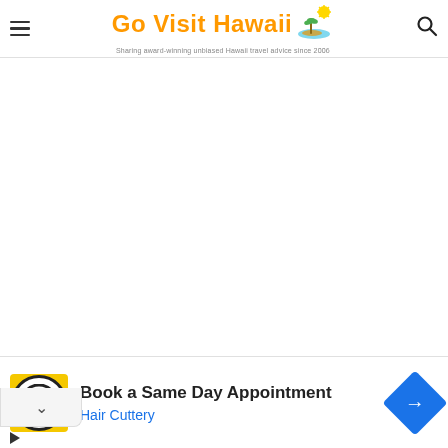Go Visit Hawaii — Sharing award-winning unbiased Hawaii travel advice since 2006
[Figure (screenshot): Large white empty content area below the site header]
[Figure (infographic): Advertisement banner: Book a Same Day Appointment — Hair Cuttery, with HC logo and navigation icon]